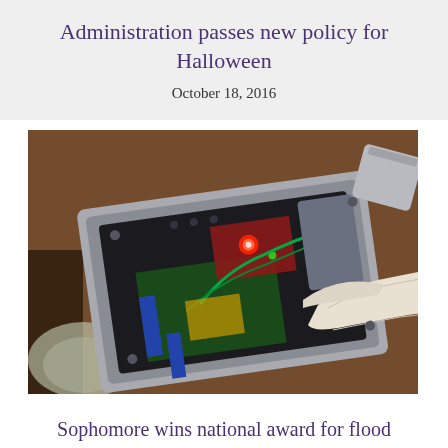Administration passes new policy for Halloween
October 18, 2016
[Figure (photo): A gloved hand pointing at an open electronic device/circuit box with a red LED light, green wiring, and various components on a circuit board, placed on a brown surface with other electronic parts nearby.]
Sophomore wins national award for flood